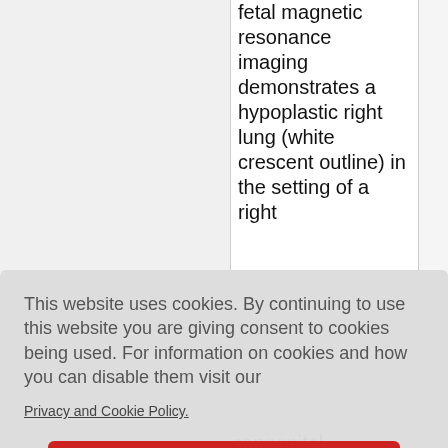fetal magnetic resonance imaging demonstrates a hypoplastic right lung (white crescent outline) in the setting of a right
This website uses cookies. By continuing to use this website you are giving consent to cookies being used. For information on cookies and how you can disable them visit our
Privacy and Cookie Policy.
AGREE & PROCEED
congenital